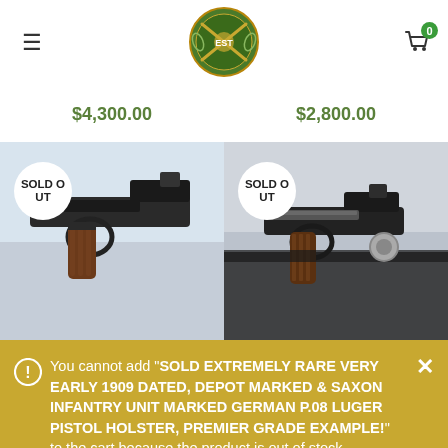Navigation header with hamburger menu, logo, and cart icon with badge 0
$4,300.00
$2,800.00
[Figure (photo): Close-up photo of a German P.08 Luger pistol with SOLD OUT badge overlay]
[Figure (photo): Close-up photo of a German P.08 Luger pistol with holster, with SOLD OUT badge overlay]
You cannot add "SOLD EXTREMELY RARE VERY EARLY 1909 DATED, DEPOT MARKED & SAXON INFANTRY UNIT MARKED GERMAN P.08 LUGER PISTOL HOLSTER, PREMIER GRADE EXAMPLE!" to the cart because the product is out of stock.